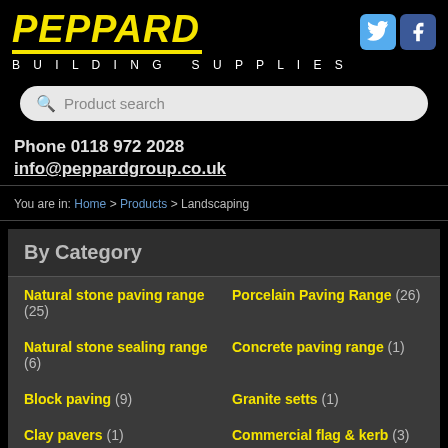[Figure (logo): Peppard Building Supplies logo with yellow italic bold text and yellow underline bar]
[Figure (illustration): Twitter and Facebook social media icons in top right corner]
Product search
Phone 0118 972 2028
info@peppardgroup.co.uk
You are in: Home > Products > Landscaping
By Category
Natural stone paving range (25)
Porcelain Paving Range (26)
Natural stone sealing range (6)
Concrete paving range (1)
Block paving (9)
Granite setts (1)
Clay pavers (1)
Commercial flag & kerb (3)
Trex Decking (3)
Lap panels (2)